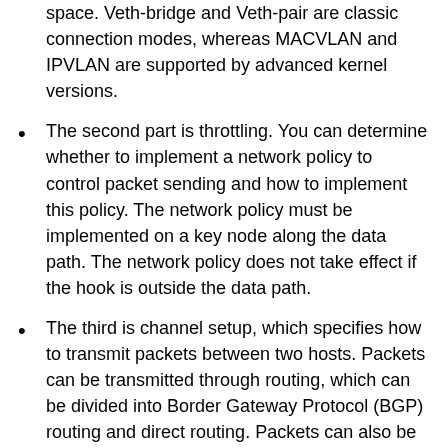space. Veth-bridge and Veth-pair are classic connection modes, whereas MACVLAN and IPVLAN are supported by advanced kernel versions.
The second part is throttling. You can determine whether to implement a network policy to control packet sending and how to implement this policy. The network policy must be implemented on a key node along the data path. The network policy does not take effect if the hook is outside the data path.
The third is channel setup, which specifies how to transmit packets between two hosts. Packets can be transmitted through routing, which can be divided into Border Gateway Protocol (BGP) routing and direct routing. Packets can also be transmitted through tunneling. The process of sending a packet from a container to the peer end can be summarized as follows: (1) The packet leaves the container and reaches the host through the access layer; (2) The packet passes through the host's throttling module (if